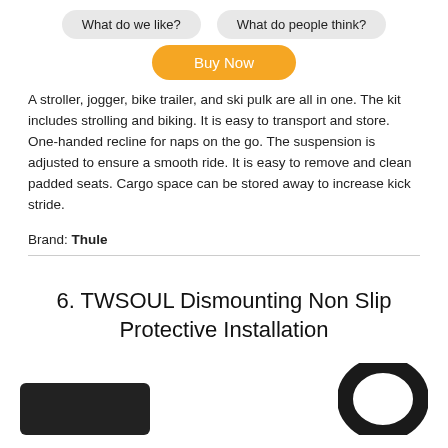What do we like?
What do people think?
Buy Now
A stroller, jogger, bike trailer, and ski pulk are all in one. The kit includes strolling and biking. It is easy to transport and store. One-handed recline for naps on the go. The suspension is adjusted to ensure a smooth ride. It is easy to remove and clean padded seats. Cargo space can be stored away to increase kick stride.
Brand: Thule
6. TWSOUL Dismounting Non Slip Protective Installation
[Figure (photo): Product images showing two items: a black strap/buckle accessory on the left and a black circular ring/handle on the right]